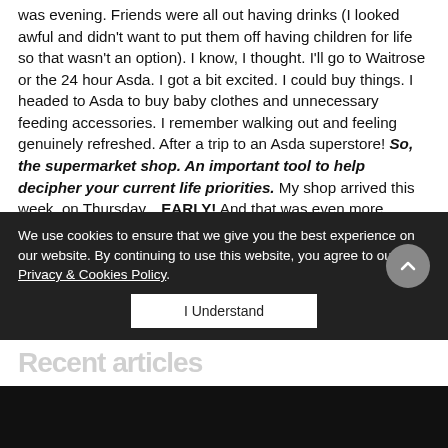was evening. Friends were all out having drinks (I looked awful and didn't want to put them off having children for life so that wasn't an option). I know, I thought. I'll go to Waitrose or the 24 hour Asda. I got a bit excited. I could buy things. I headed to Asda to buy baby clothes and unnecessary feeding accessories. I remember walking out and feeling genuinely refreshed. After a trip to an Asda superstore! So, the supermarket shop. An important tool to help decipher your current life priorities. My shop arrived this week, on Thursday…EARLY! And that was even more exciting. It felt like a mini victory in the me v's the work / family life churn. And then while I was savouring some 'me time' unpacking our food for next week, I realised I am extremely lucky and very content with being at home every evening enjoying the all-consuming chaos of being a working mummy – a world where what was a chore once upon a time is now a well-deserved break! Oh, and thank god for online shopping!
We use cookies to ensure that we give you the best experience on our website. By continuing to use this website, you agree to our Privacy & Cookies Policy.
I Understand
Recent articles